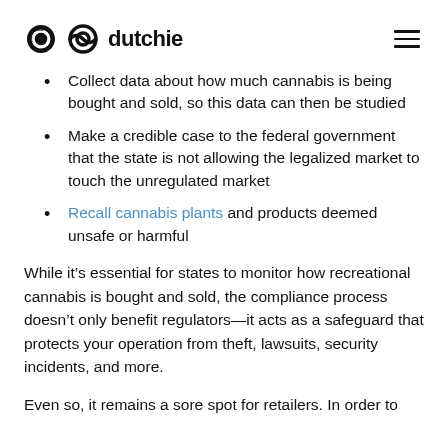dutchie
Collect data about how much cannabis is being bought and sold, so this data can then be studied
Make a credible case to the federal government that the state is not allowing the legalized market to touch the unregulated market
Recall cannabis plants and products deemed unsafe or harmful
While it’s essential for states to monitor how recreational cannabis is bought and sold, the compliance process doesn’t only benefit regulators—it acts as a safeguard that protects your operation from theft, lawsuits, security incidents, and more.
Even so, it remains a sore spot for retailers. In order to